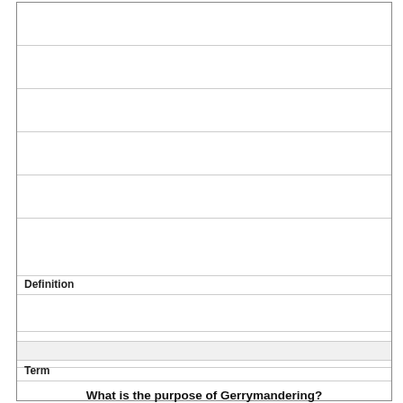Definition
Term
What is the purpose of Gerrymandering?